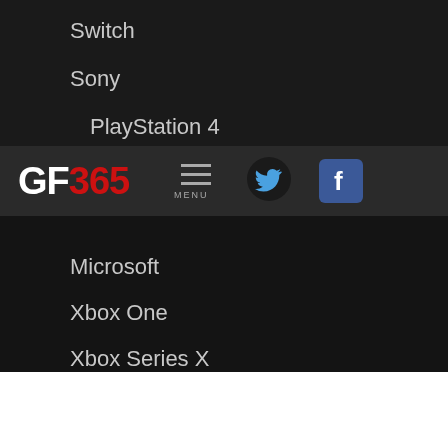Switch
Sony
PlayStation 4
[Figure (logo): GF365 logo with hamburger menu icon, Twitter bird icon, and Facebook icon in a dark navigation bar]
Microsoft
Xbox One
Xbox Series X